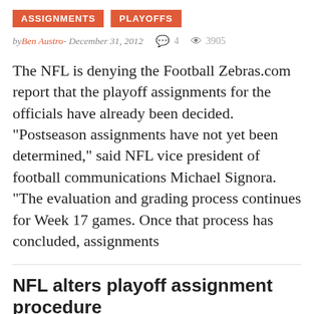ASSIGNMENTS   PLAYOFFS
by Ben Austro - December 31, 2012  💬 4  👁 3905
The NFL is denying the Football Zebras.com report that the playoff assignments for the officials have already been decided. "Postseason assignments have not yet been determined," said NFL vice president of football communications Michael Signora. "The evaluation and grading process continues for Week 17 games. Once that process has concluded, assignments
NFL alters playoff assignment procedure
ASSIGNMENTS   PLAYOFFS   by Ben Austro -